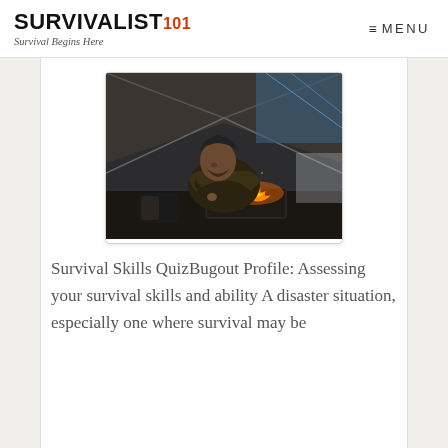SURVIVALIST101 — Survival Begins Here | MENU
[Figure (photo): A bearded man in a heavy dark jacket crouching over a campfire in a sheltered outdoor structure, tending flames; survival/camping scene with gear visible]
Survival Skills QuizBugout Profile: Assessing your survival skills and ability A disaster situation, especially one where survival may be